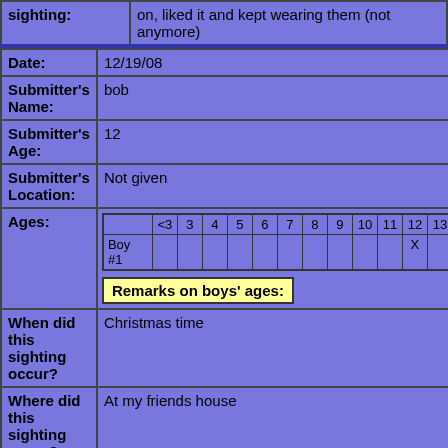| sighting: | on, liked it and kept wearing them (not anymore) |
| Date: | 12/19/08 |
| Submitter's Name: | bob |
| Submitter's Age: | 12 |
| Submitter's Location: | Not given |
| Ages: | [age grid with Boy #1 marked at 12] Remarks on boys' ages: |
| When did this sighting occur? | Christmas time |
| Where did this sighting occur? | At my friends house |
| What kind of | Disposable |